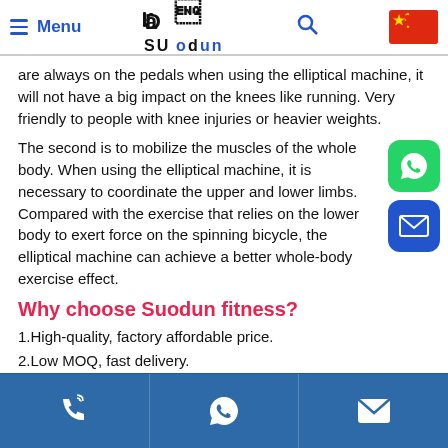Menu | SUODUN | Search | China Flag
are always on the pedals when using the elliptical machine, it will not have a big impact on the knees like running. Very friendly to people with knee injuries or heavier weights.
The second is to mobilize the muscles of the whole body. When using the elliptical machine, it is necessary to coordinate the upper and lower limbs. Compared with the exercise that relies on the lower body to exert force on the spinning bicycle, the elliptical machine can achieve a better whole-body exercise effect.
Why choose Suodun fitness?
1.High-quality, factory affordable price.
2.Low MOQ, fast delivery.
3.Support customized LOGO.
4.Customizable color and packaging
Phone | WhatsApp | Email